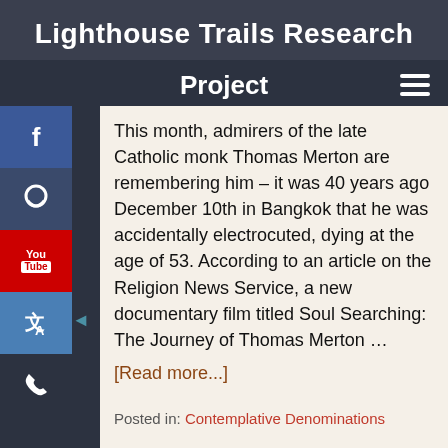Lighthouse Trails Research
Project
This month, admirers of the late Catholic monk Thomas Merton are remembering him – it was 40 years ago December 10th in Bangkok that he was accidentally electrocuted, dying at the age of 53. According to an article on the Religion News Service, a new documentary film titled Soul Searching: The Journey of Thomas Merton ...
[Read more...]
Posted in: Contemplative Denominations